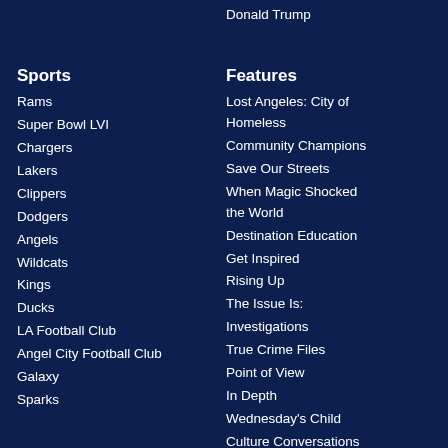Donald Trump
Sports
Rams
Super Bowl LVI
Chargers
Lakers
Clippers
Dodgers
Angels
Wildcats
Kings
Ducks
LA Football Club
Angel City Football Club
Galaxy
Sparks
Features
Lost Angeles: City of Homeless
Community Champions
Save Our Streets
When Magic Shocked the World
Destination Education
Get Inspired
Rising Up
The Issue Is:
Investigations
True Crime Files
Point of View
In Depth
Wednesday's Child
Culture Conversations